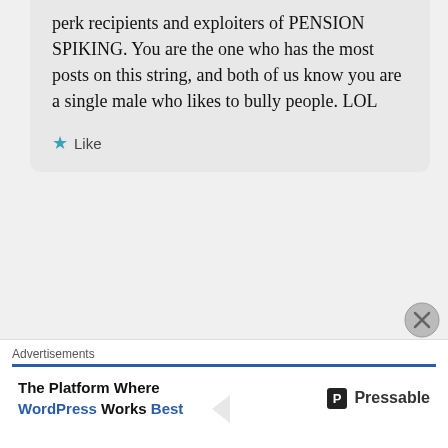perk recipients and exploiters of PENSION SPIKING. You are the one who has the most posts on this string, and both of us know you are a single male who likes to bully people. LOL
Like
Anonymous
July 20, 2013 at 2:10 AM
Wow, my Puerta Rican lesbian wife and I can't believe such language, 'troll' 'nig' HOG' and more
Advertisements
The Platform Where WordPress Works Best
Pressable